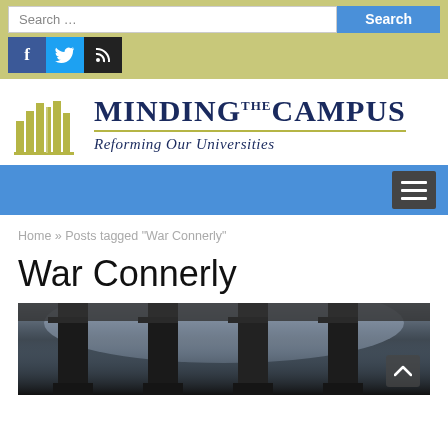[Figure (screenshot): Search bar with blue Search button and social media icons (Facebook, Twitter, RSS) on an olive/yellow background]
[Figure (logo): Minding the Campus logo with book icons and tagline 'Reforming Our Universities']
[Figure (screenshot): Blue navigation bar with hamburger menu icon on the right]
Home » Posts tagged "War Connerly"
War Connerly
[Figure (photo): Dark photograph of architectural columns viewed from below against a bright sky, with a scroll-to-top arrow button in the bottom right corner]